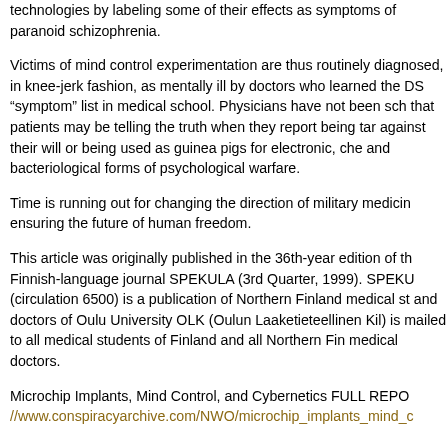technologies by labeling some of their effects as symptoms of paranoid schizophrenia.
Victims of mind control experimentation are thus routinely diagnosed, in knee-jerk fashion, as mentally ill by doctors who learned the DSM "symptom" list in medical school. Physicians have not been schooled that patients may be telling the truth when they report being targeted against their will or being used as guinea pigs for electronic, chemical and bacteriological forms of psychological warfare.
Time is running out for changing the direction of military medicine and ensuring the future of human freedom.
This article was originally published in the 36th-year edition of the Finnish-language journal SPEKULA (3rd Quarter, 1999). SPEKULA (circulation 6500) is a publication of Northern Finland medical students and doctors of Oulu University OLK (Oulun Laaketieteellinen Kilta). It is mailed to all medical students of Finland and all Northern Finland medical doctors.
Microchip Implants, Mind Control, and Cybernetics FULL REPORT: //www.conspiracyarchive.com/NWO/microchip_implants_mind_c
Source: //disc.server.com/discussion.cgi?id=149495;article=108694;show_parent=1
Starmail - 27. Jan, 10:33